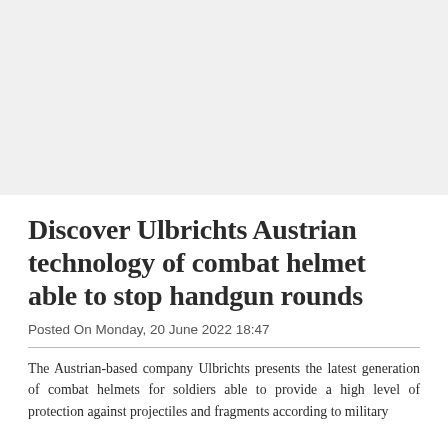[Figure (photo): Placeholder image area at the top of the article page, light gray background]
Discover Ulbrichts Austrian technology of combat helmet able to stop handgun rounds
Posted On Monday, 20 June 2022 18:47
The Austrian-based company Ulbrichts presents the latest generation of combat helmets for soldiers able to provide a high level of protection against projectiles and fragments according to military